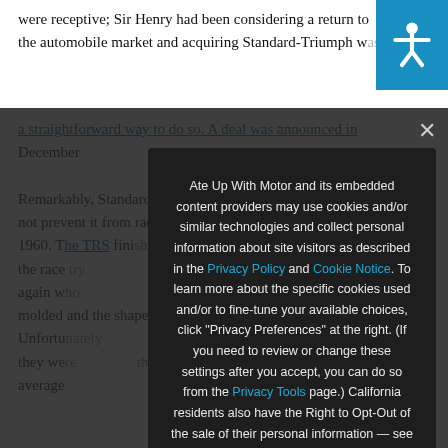were receptive; Sir Henry had been considering a return to the automobile market and acquiring Standard-Triumph was a straightforward way to do so. A deal was announced in December
Remarkably, Standard-Triumph's massive financial crisis did not prevent it from racing. At Le Mans in June 1960. The TRS finished the race. By try again. The molded and the shape who change above setups. Unfortunately they were their average
Ate Up With Motor and its embedded content providers may use cookies and/or similar technologies and collect personal information about site visitors as described in the Privacy Policy and Cookie Notice. To learn more about the specific cookies used and/or to fine-tune your available choices, click "Privacy Preferences" at the right. (If you need to review or change these settings after you accept, you can do so from the Privacy Tools page.) California residents also have the Right to Opt-Out of the sale of their personal information — see the Do Not Sell My Personal Information page.
❯ Privacy Preferences
I Agree